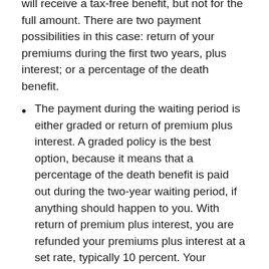will receive a tax-free benefit, but not for the full amount. There are two payment possibilities in this case: return of your premiums during the first two years, plus interest; or a percentage of the death benefit.
The payment during the waiting period is either graded or return of premium plus interest. A graded policy is the best option, because it means that a percentage of the death benefit is paid out during the two-year waiting period, if anything should happen to you. With return of premium plus interest, you are refunded your premiums plus interest at a set rate, typically 10 percent. Your beneficiaries will receive more with a graded policy.
Rates are higher than for standard life insurance. As this is a high-risk policy, it comes at a higher cost. However, the rates are guaranteed for the rest